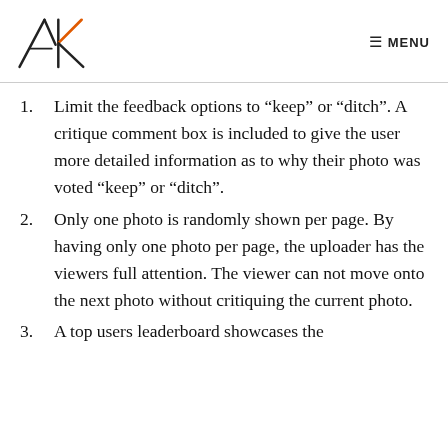AK | MENU
Limit the feedback options to “keep” or “ditch”. A critique comment box is included to give the user more detailed information as to why their photo was voted “keep” or “ditch”.
Only one photo is randomly shown per page. By having only one photo per page, the uploader has the viewers full attention. The viewer can not move onto the next photo without critiquing the current photo.
A top users leaderboard showcases the